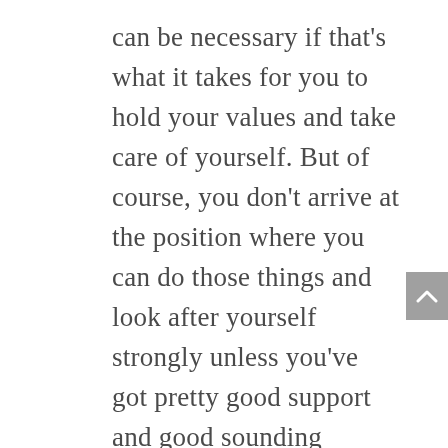can be necessary if that's what it takes for you to hold your values and take care of yourself. But of course, you don't arrive at the position where you can do those things and look after yourself strongly unless you've got pretty good support and good sounding boards around you to work that stuff through. You don't arrive at that position instantly or in time, usually you get there after you've already started to feel the effects of overdoing it. So I think this thing of having trusted colleagues or supervisors and being able